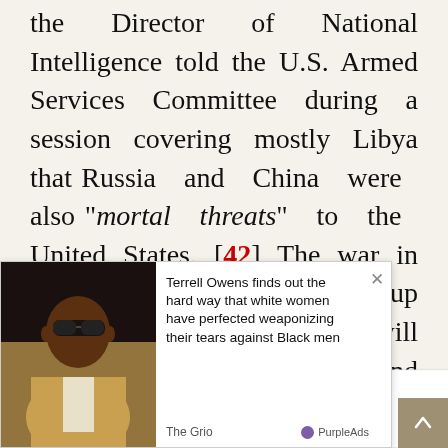the Director of National Intelligence told the U.S. Armed Services Committee during a session covering mostly Libya that Russia and China were also "mortal threats" to the United States. [42] The war in Libya is also meant to shore up the drive into Eurasia, which will target Russia, China, Iran, and Central Asia. There already is a visible correlation between NATO pressure and Turkey's roles against Libya and Syria.
The Arab sister-republics of Leba... too. and in Lebanon with the Special
[Figure (photo): Advertisement overlay showing a man in sunglasses and suit jacket, with headline: Terrell Owens finds out the hard way that white women have perfected weaponizing their tears against Black men. Source: The Grio. Branded as PurpleAds.]